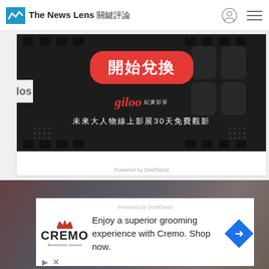The News Lens 關鍵評論
[Figure (screenshot): Giloo promotional banner with film strip background, red rounded rectangle button with text '開始兌換', Giloo brand name in red italic, and text '未來大人物線上影展30天免費觀影']
los
[Figure (screenshot): Cremo grooming advertisement with white overlay card showing Cremo logo and text 'Enjoy a superior grooming experience with Cremo. Shop now.' with blue arrow badge, on blurred background of people]